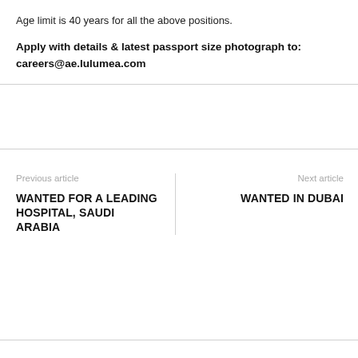Age limit is 40 years for all the above positions.
Apply with details & latest passport size photograph to:
careers@ae.lulumea.com
Previous article
WANTED FOR A LEADING HOSPITAL, SAUDI ARABIA
Next article
WANTED IN DUBAI